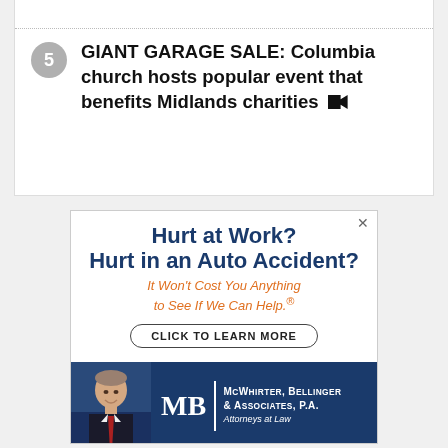5 GIANT GARAGE SALE: Columbia church hosts popular event that benefits Midlands charities [video]
[Figure (advertisement): Advertisement for McWhirter, Bellinger & Associates, P.A. Attorneys at Law. Headline: 'Hurt at Work? Hurt in an Auto Accident?' Subtext: 'It Won't Cost You Anything to See If We Can Help.®' Button: 'CLICK TO LEARN MORE'. Bottom section shows a man in suit with law firm logo MB and text McWhirter, Bellinger & Associates, P.A. Attorneys at Law.]